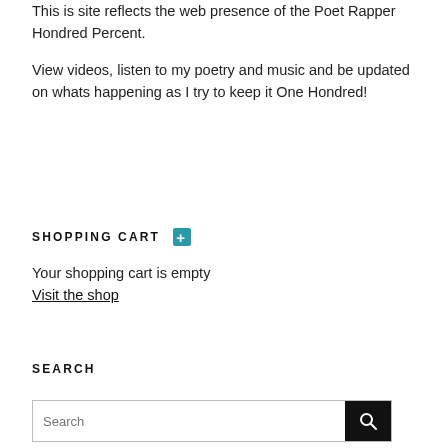This is site reflects the web presence of the Poet Rapper Hondred Percent.
View videos, listen to my poetry and music and be updated on whats happening as I try to keep it One Hondred!
SHOPPING CART
Your shopping cart is empty
Visit the shop
SEARCH